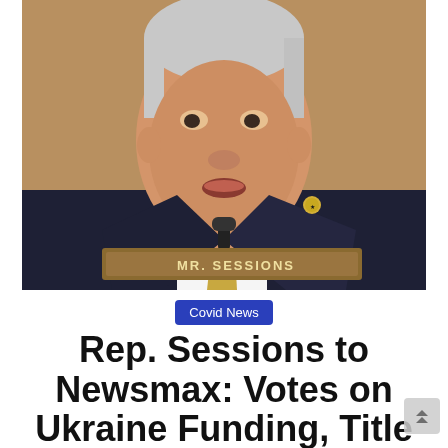[Figure (photo): Photo of Rep. Sessions speaking at a congressional hearing, wearing a dark pinstripe suit with a gold tie. A nameplate reading 'MR. SESSIONS' is visible in the foreground. He has gray/white hair and an American flag pin on his lapel.]
Covid News
Rep. Sessions to Newsmax: Votes on Ukraine Funding, Title 42...